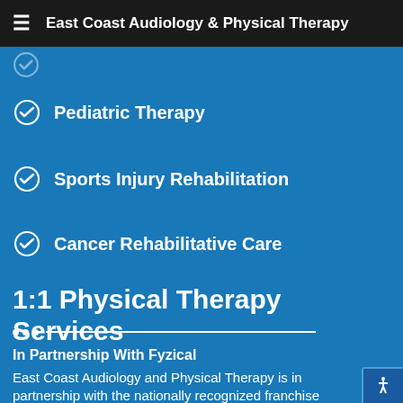East Coast Audiology & Physical Therapy
Pediatric Therapy
Sports Injury Rehabilitation
Cancer Rehabilitative Care
1:1 Physical Therapy Services
In Partnership With Fyzical
East Coast Audiology and Physical Therapy is in partnership with the nationally recognized franchise